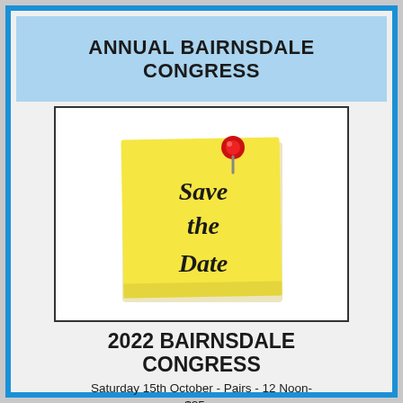ANNUAL BAIRNSDALE CONGRESS
[Figure (illustration): A yellow sticky note with a red pushpin at the top, with cursive text reading 'Save the Date']
2022 BAIRNSDALE CONGRESS
Saturday 15th October - Pairs - 12 Noon- $25pp